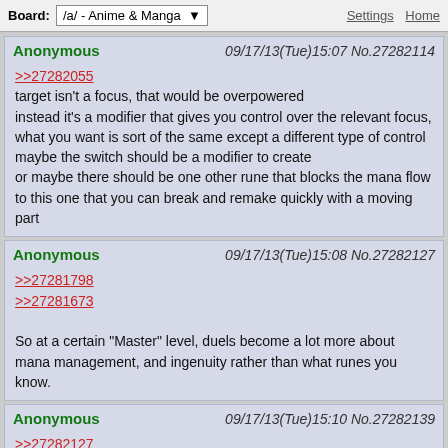Board: /a/ - Anime & Manga | Settings Home
Anonymous 09/17/13(Tue)15:07 No.27282114
>>27282055
target isn't a focus, that would be overpowered
instead it's a modifier that gives you control over the relevant focus,
what you want is sort of the same except a different type of control
maybe the switch should be a modifier to create
or maybe there should be one other rune that blocks the mana flow
to this one that you can break and remake quickly with a moving part
Anonymous 09/17/13(Tue)15:08 No.27282127
>>27281798
>>27281673
So at a certain "Master" level, duels become a lot more about mana management, and ingenuity rather than what runes you know.
Anonymous 09/17/13(Tue)15:10 No.27282139
>>27282127
I like that. Honestly it makes more sense that it should work like that to me.
Anonymous 09/17/13(Tue)15:13 No.27282183